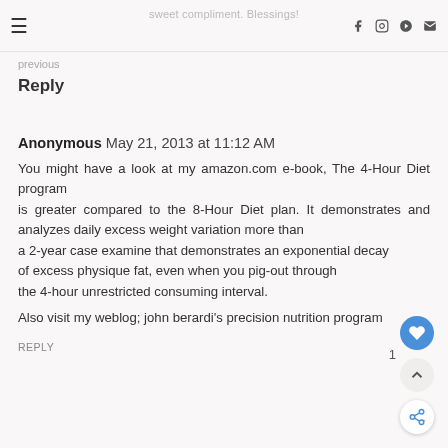sweet compliment. Blessings!
Reply
Anonymous May 21, 2013 at 11:12 AM

You might have a look at my amazon.com e-book, The 4-Hour Diet program is greater compared to the 8-Hour Diet plan. It demonstrates and analyzes daily excess weight variation more than a 2-year case examine that demonstrates an exponential decay of excess physique fat, even when you pig-out through the 4-hour unrestricted consuming interval.

Also visit my weblog; john berardi's precision nutrition program
REPLY